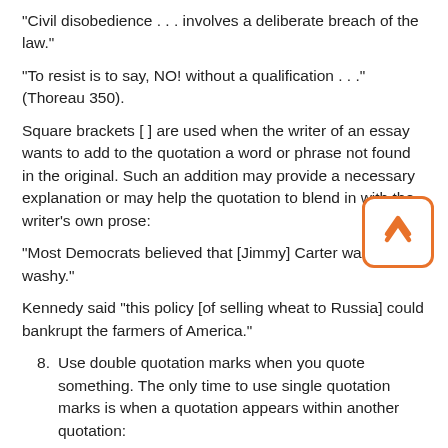"Civil disobedience . . . involves a deliberate breach of the law."
"To resist is to say, NO! without a qualification . . ." (Thoreau 350).
Square brackets [ ] are used when the writer of an essay wants to add to the quotation a word or phrase not found in the original. Such an addition may provide a necessary explanation or may help the quotation to blend in with the writer's own prose:
"Most Democrats believed that [Jimmy] Carter was wishy-washy."
Kennedy said "this policy [of selling wheat to Russia] could bankrupt the farmers of America."
8. Use double quotation marks when you quote something. The only time to use single quotation marks is when a quotation appears within another quotation:
"Thus I return to Chestov. A commentator relates a